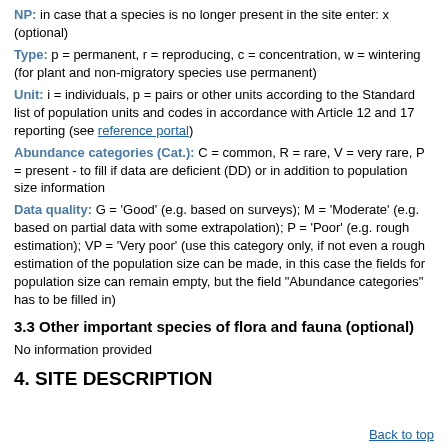NP: in case that a species is no longer present in the site enter: x (optional)
Type: p = permanent, r = reproducing, c = concentration, w = wintering (for plant and non-migratory species use permanent)
Unit: i = individuals, p = pairs or other units according to the Standard list of population units and codes in accordance with Article 12 and 17 reporting (see reference portal)
Abundance categories (Cat.): C = common, R = rare, V = very rare, P = present - to fill if data are deficient (DD) or in addition to population size information
Data quality: G = 'Good' (e.g. based on surveys); M = 'Moderate' (e.g. based on partial data with some extrapolation); P = 'Poor' (e.g. rough estimation); VP = 'Very poor' (use this category only, if not even a rough estimation of the population size can be made, in this case the fields for population size can remain empty, but the field "Abundance categories" has to be filled in)
3.3 Other important species of flora and fauna (optional)
No information provided
4. SITE DESCRIPTION
Back to top